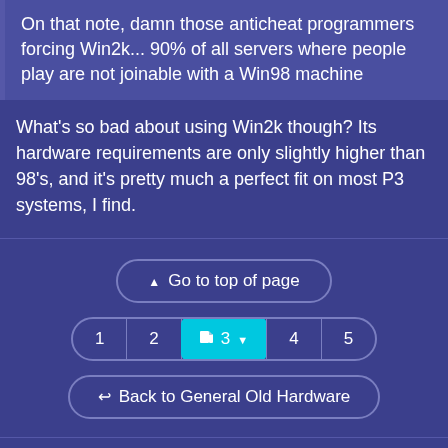On that note, damn those anticheat programmers forcing Win2k... 90% of all servers where people play are not joinable with a Win98 machine
What's so bad about using Win2k though? Its hardware requirements are only slightly higher than 98's, and it's pretty much a perfect fit on most P3 systems, I find.
[Figure (screenshot): Navigation UI showing 'Go to top of page' button, pagination bar with pages 1-5 (page 3 active/highlighted in cyan), and 'Back to General Old Hardware' button]
VOCONS site design is distributed under a CC BY-NC